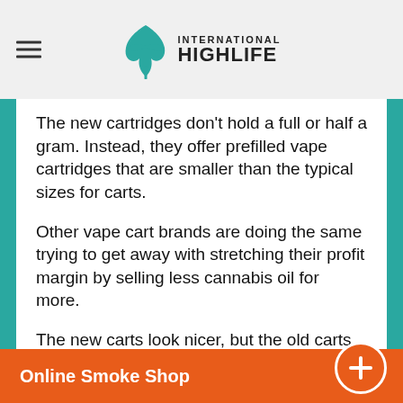International Highlife
The new cartridges don’t hold a full or half a gram. Instead, they offer prefilled vape cartridges that are smaller than the typical sizes for carts.
Other vape cart brands are doing the same trying to get away with stretching their profit margin by selling less cannabis oil for more.
The new carts look nicer, but the old carts hit better and produced bigger vape clouds. You can find them online and in the Bay
Online Smoke Shop